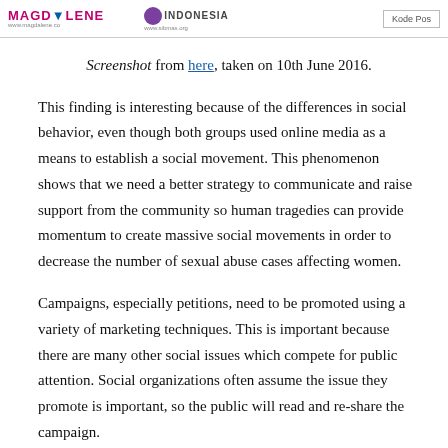MAGDALENE | www.magdalene.co | [SIB INDONESIA logo] www.sibmas.org | Kode Pos
Screenshot from here, taken on 10th June 2016.
This finding is interesting because of the differences in social behavior, even though both groups used online media as a means to establish a social movement. This phenomenon shows that we need a better strategy to communicate and raise support from the community so human tragedies can provide momentum to create massive social movements in order to decrease the number of sexual abuse cases affecting women.
Campaigns, especially petitions, need to be promoted using a variety of marketing techniques. This is important because there are many other social issues which compete for public attention. Social organizations often assume the issue they promote is important, so the public will read and re-share the campaign. Careful thought must into more successful campaigns in order to